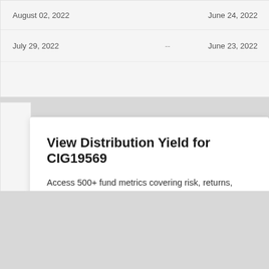| Date |  | Record Date |
| --- | --- | --- |
| August 02, 2022 | -- | June 24, 2022 |
| July 29, 2022 | -- | June 23, 2022 |
View Distribution Yield for CIG19569
Access 500+ fund metrics covering risk, returns, exposu...
Start My Free Trial
No credit card required.
Already a subscriber? Sign in.